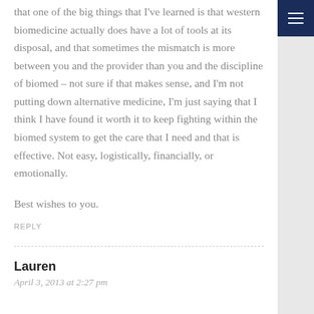that one of the big things that I've learned is that western biomedicine actually does have a lot of tools at its disposal, and that sometimes the mismatch is more between you and the provider than you and the discipline of biomed – not sure if that makes sense, and I'm not putting down alternative medicine, I'm just saying that I think I have found it worth it to keep fighting within the biomed system to get the care that I need and that is effective. Not easy, logistically, financially, or emotionally.
Best wishes to you.
REPLY
Lauren
April 3, 2013 at 2:27 pm